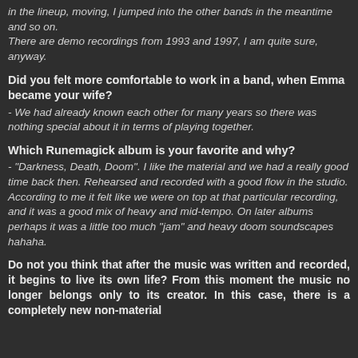in the lineup, moving, I jumped into the other bands in the meantime and so on.
There are demo recordings from 1993 and 1997, I am quite sure, anyway.
Did you felt more comfortable to work in a band, when Emma became your wife?
- We had already known each other for many years so there was nothing special about it in terms of playing together.
Which Runemagick album is your favorite and why?
- "Darkness, Death, Doom". I like the material and we had a really good time back then. Rehearsed and recorded with a good flow in the studio. According to me it felt like we were on top at that particular recording, and it was a good mix of heavy and mid-tempo. On later albums perhaps it was a little too much "jam" and heavy doom soundscapes hahaha.
Do not you think that after the music was written and recorded, it begins to live its own life? From this moment the music no longer belongs only to its creator. In this case, there is a completely new non-material dimension to some of your work, isn't it?